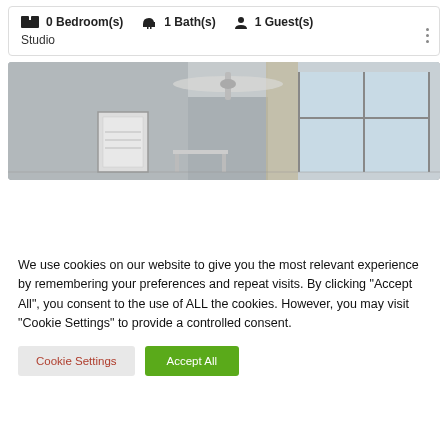0 Bedroom(s)  1 Bath(s)  1 Guest(s)
Studio
[Figure (photo): Interior room photo showing ceiling fan, framed artwork on wall, window with curtains, gray walls]
We use cookies on our website to give you the most relevant experience by remembering your preferences and repeat visits. By clicking “Accept All”, you consent to the use of ALL the cookies. However, you may visit "Cookie Settings" to provide a controlled consent.
Cookie Settings
Accept All